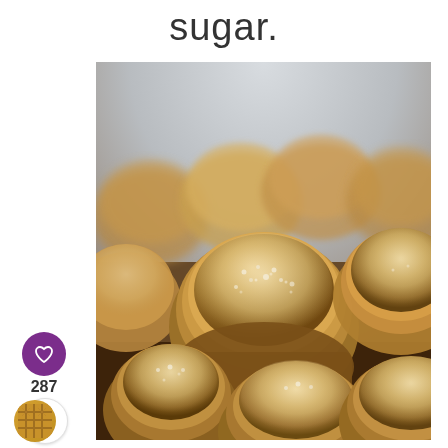sugar.
[Figure (photo): Close-up photo of multiple small round muffins or donut holes coated in cinnamon sugar, arranged in a baking pan. The muffins are golden brown with a generous coating of granulated cinnamon-sugar mixture on top. Background is light blue/grey.]
287